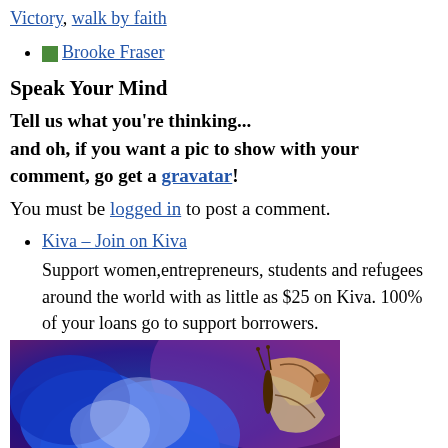Victory, walk by faith
Brooke Fraser
Speak Your Mind
Tell us what you're thinking... and oh, if you want a pic to show with your comment, go get a gravatar!
You must be logged in to post a comment.
Kiva – Join on Kiva
Support women,entrepreneurs, students and refugees around the world with as little as $25 on Kiva. 100% of your loans go to support borrowers.
[Figure (photo): Photo of a butterfly on a blue flower against a purple/pink background]